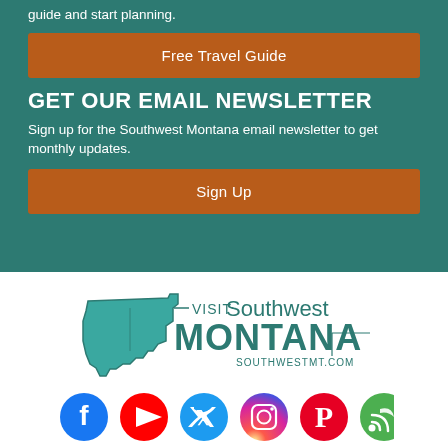guide and start planning.
Free Travel Guide
GET OUR EMAIL NEWSLETTER
Sign up for the Southwest Montana email newsletter to get monthly updates.
Sign Up
[Figure (logo): Visit Southwest Montana logo with Montana state outline and text 'VISIT Southwest MONTANA SOUTHWESTMT.COM']
[Figure (illustration): Social media icons row: Facebook, YouTube, Twitter, Instagram, Pinterest, Blog/RSS]